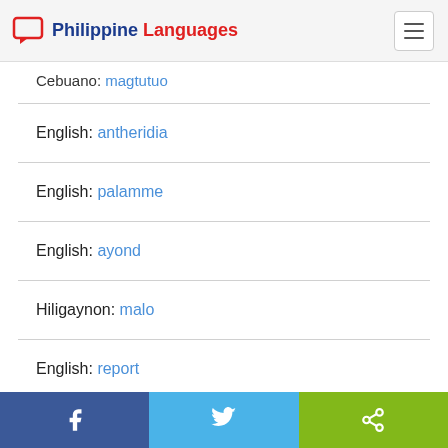Philippine Languages
Cebuano: magtutuo
English: antheridia
English: palamme
English: ayond
Hiligaynon: malo
English: report
Hiligaynon: papag
Share on Facebook | Share on Twitter | Share